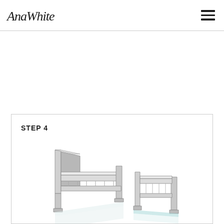AnaWhite
STEP 4
[Figure (engineering-diagram): Two bed frame structures shown side by side in a 3D sketch style. The left structure shows a taller headboard post and a side rail with slats underneath. The right structure is a lower footboard frame with horizontal rails and legs. Both are drawn in light gray/white tones with subtle blue-green accents on the bottom surfaces, representing a DIY bed frame assembly step.]